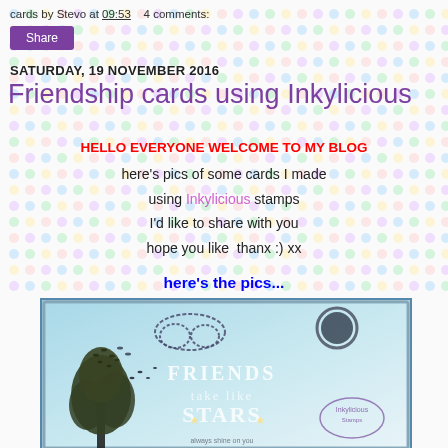cards by Stevo at 09:53    4 comments:
[Figure (other): Share button (purple/violet button labeled Share)]
SATURDAY, 19 NOVEMBER 2016
Friendship cards using Inkylicious
HELLO EVERYONE WELCOME TO MY BLOG
here's pics of some cards I made
using Inkylicious stamps
I'd like to share with you
hope you like  thanx :) xx
here's the pics...
[Figure (photo): Photo of a handmade friendship card using Inkylicious stamps, showing stamped trees, clouds, moon, and text reading FRIENDS STARS with decorative elements on a blue-tinted background]